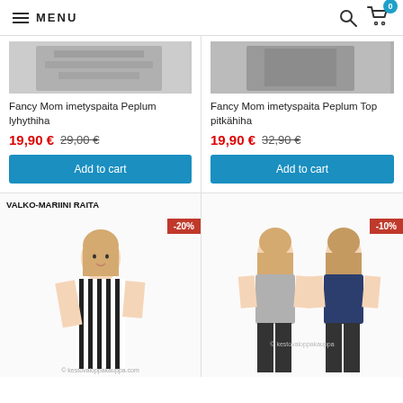MENU
[Figure (photo): Product image top-left: partial view of striped/pattern shirt]
Fancy Mom imetyspaita Peplum lyhythiha
19,90 € 29,00 €
Add to cart
[Figure (photo): Product image top-right: partial view of dark clothing item]
Fancy Mom imetyspaita Peplum Top pitkähiha
19,90 € 32,90 €
Add to cart
[Figure (photo): Product photo bottom-left: woman in black and white striped dress, label VALKO-MARIINI RAITA, -20% badge, watermark kestovaloppakauppa.com]
[Figure (photo): Product photo bottom-right: two women in gray/navy tops, -10% badge, watermark kestovaloppakauppa]